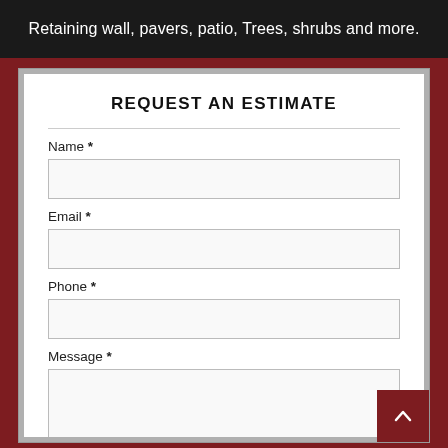Retaining wall, pavers, patio, Trees, shrubs and more.
REQUEST AN ESTIMATE
Name *
Email *
Phone *
Message *